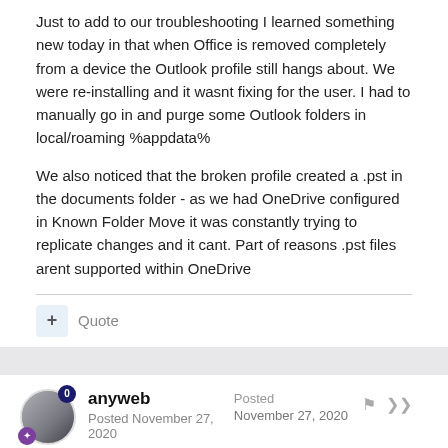Just to add to our troubleshooting I learned something new today in that when Office is removed completely from a device the Outlook profile still hangs about.  We were re-installing and it wasnt fixing for the user.  I had to manually go in and purge some Outlook folders in local/roaming %appdata%
We also noticed that the broken profile created a .pst in the documents folder - as we had OneDrive configured in Known Folder Move it was constantly trying to replicate changes and it cant.  Part of reasons .pst files arent supported within OneDrive
anyweb
Posted November 27, 2020
Posted November 27, 2020
interesting,  it also seems that Microsoft is recommending the Monthly Enterprise Channel for office (while at the same time